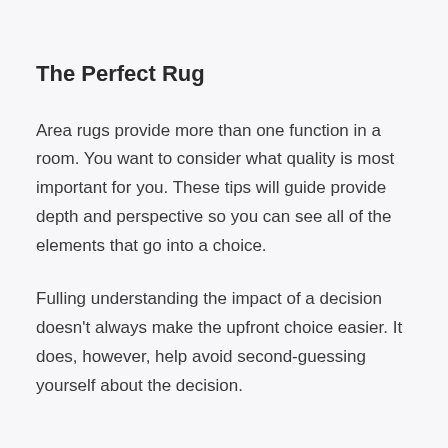The Perfect Rug
Area rugs provide more than one function in a room. You want to consider what quality is most important for you. These tips will guide provide depth and perspective so you can see all of the elements that go into a choice.
Fulling understanding the impact of a decision doesn't always make the upfront choice easier. It does, however, help avoid second-guessing yourself about the decision.